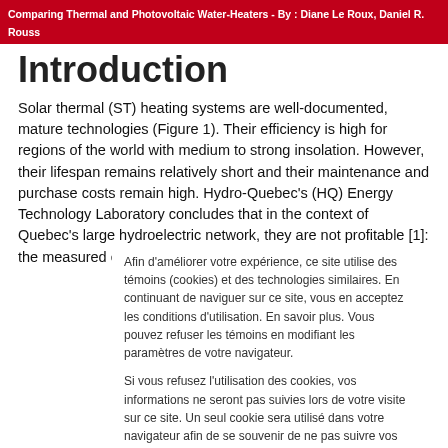Comparing Thermal and Photovoltaic Water-Heaters - By : Diane Le Roux, Daniel R. Rouss
Introduction
Solar thermal (ST) heating systems are well-documented, mature technologies (Figure 1). Their efficiency is high for regions of the world with medium to strong insolation. However, their lifespan remains relatively short and their maintenance and purchase costs remain high. Hydro-Quebec's (HQ) Energy Technology Laboratory concludes that in the context of Quebec's large hydroelectric network, they are not profitable [1]: the measured energy saving is
Afin d'améliorer votre expérience, ce site utilise des témoins (cookies) et des technologies similaires. En continuant de naviguer sur ce site, vous en acceptez les conditions d'utilisation. En savoir plus. Vous pouvez refuser les témoins en modifiant les paramètres de votre navigateur.

Si vous refusez l'utilisation des cookies, vos informations ne seront pas suivies lors de votre visite sur ce site. Un seul cookie sera utilisé dans votre navigateur afin de se souvenir de ne pas suivre vos préférences.
J'accepte | Refuser